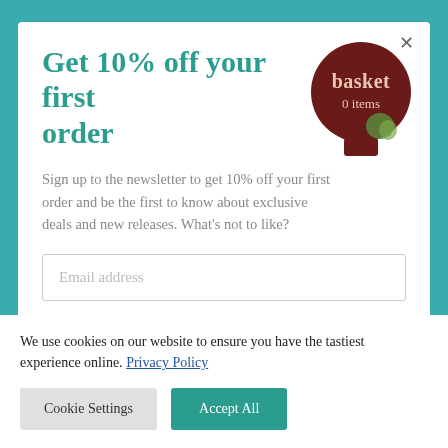Free shipping on UK orders over £25!
Get 10% off your first order
[Figure (illustration): Hot air balloon basket badge with 'basket' text and '0 items' label]
Sign up to the newsletter to get 10% off your first order and be the first to know about exclusive deals and new releases. What's not to like?
Email address
We use cookies on our website to ensure you have the tastiest experience online. Privacy Policy
Cookie Settings
Accept All